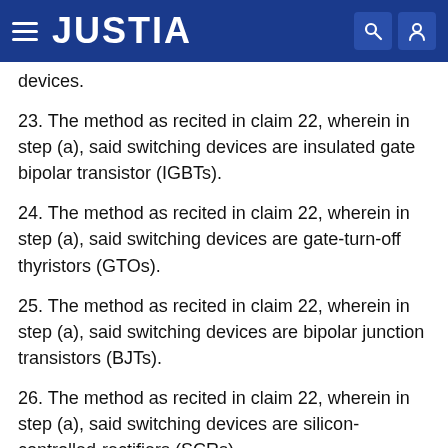JUSTIA
devices.
23. The method as recited in claim 22, wherein in step (a), said switching devices are insulated gate bipolar transistor (IGBTs).
24. The method as recited in claim 22, wherein in step (a), said switching devices are gate-turn-off thyristors (GTOs).
25. The method as recited in claim 22, wherein in step (a), said switching devices are bipolar junction transistors (BJTs).
26. The method as recited in claim 22, wherein in step (a), said switching devices are silicon-controlled-rectifiers (SCRs).
27. The method as recited in claim 22, wherein in step